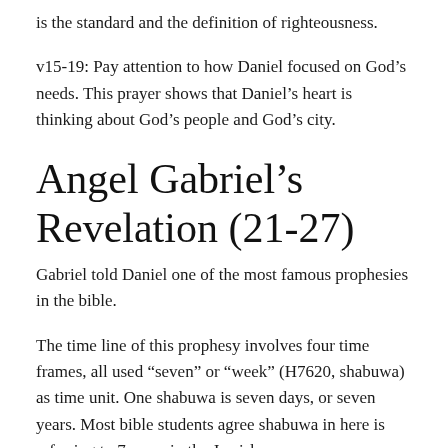is the standard and the definition of righteousness.
v15-19: Pay attention to how Daniel focused on God’s needs. This prayer shows that Daniel’s heart is thinking about God’s people and God’s city.
Angel Gabriel’s Revelation (21-27)
Gabriel told Daniel one of the most famous prophesies in the bible.
The time line of this prophesy involves four time frames, all used “seven” or “week” (H7620, shabuwa) as time unit. One shabuwa is seven days, or seven years. Most bible students agree shabuwa in here is referring to 7 years in the Jewish